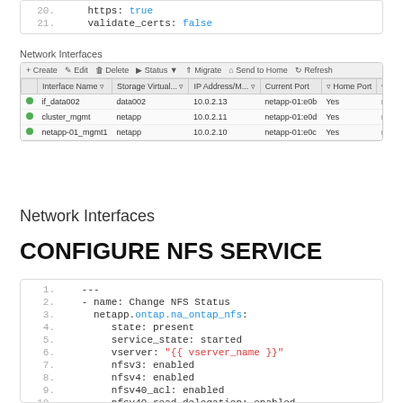[Figure (screenshot): Code block showing lines 20-21 with https: true and validate_certs: false in YAML]
[Figure (screenshot): Network Interfaces UI screenshot with table showing if_data002, cluster_mgmt, netapp-01_mgmt1 interfaces]
Network Interfaces
CONFIGURE NFS SERVICE
[Figure (screenshot): Code block lines 1-13 showing YAML for Configure NFS Status with netapp.ontap.na_ontap_nfs module]